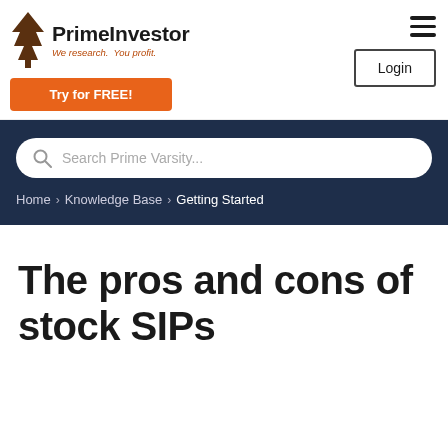PrimeInvestor — We research. You profit. | Try for FREE! | Login
[Figure (screenshot): PrimeInvestor logo with tree icon, site name in bold, tagline 'We research. You profit.' in red-brown italic]
Search Prime Varsity...
Home > Knowledge Base > Getting Started
The pros and cons of stock SIPs